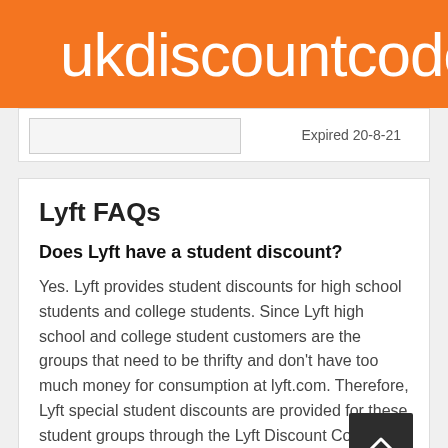ukdiscountcoders.c
Expired 20-8-21
Lyft FAQs
Does Lyft have a student discount?
Yes. Lyft provides student discounts for high school students and college students. Since Lyft high school and college student customers are the groups that need to be thrifty and don't have too much money for consumption at lyft.com. Therefore, Lyft special student discounts are provided for these student groups through the Lyft Discount Codes system.